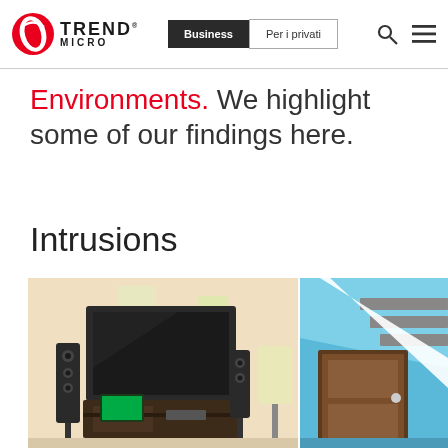Trend Micro | Business | Per i privati
Environments. We highlight some of our findings here.
Intrusions
[Figure (illustration): Illustration of a living room with a TV, speakers, and entertainment setup on a warm beige background]
[Figure (illustration): Illustration of a front door with stairs on a blue background]